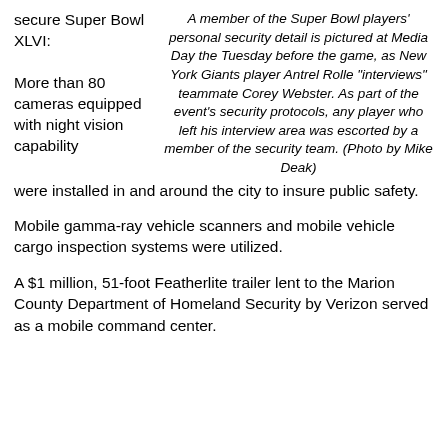secure Super Bowl XLVI:
A member of the Super Bowl players' personal security detail is pictured at Media Day the Tuesday before the game, as New York Giants player Antrel Rolle "interviews" teammate Corey Webster. As part of the event's security protocols, any player who left his interview area was escorted by a member of the security team. (Photo by Mike Deak)
More than 80 cameras equipped with night vision capability were installed in and around the city to insure public safety.
Mobile gamma-ray vehicle scanners and mobile vehicle cargo inspection systems were utilized.
A $1 million, 51-foot Featherlite trailer lent to the Marion County Department of Homeland Security by Verizon served as a mobile command center.